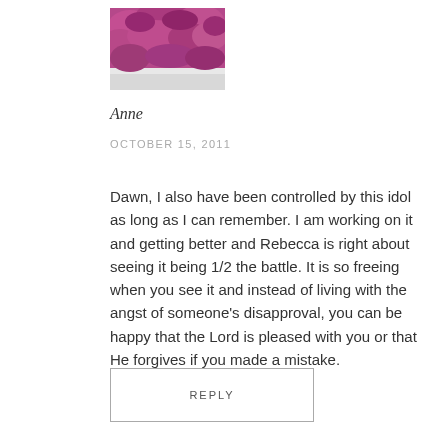[Figure (photo): A photo of pink/magenta flowering shrubs or trees, appearing to be an avatar/profile image.]
Anne
OCTOBER 15, 2011
Dawn, I also have been controlled by this idol as long as I can remember. I am working on it and getting better and Rebecca is right about seeing it being 1/2 the battle. It is so freeing when you see it and instead of living with the angst of someone’s disapproval, you can be happy that the Lord is pleased with you or that He forgives if you made a mistake.
REPLY